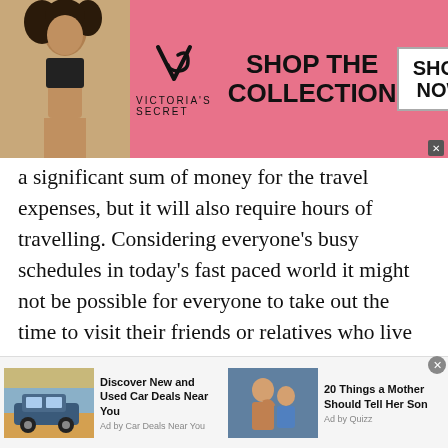[Figure (screenshot): Victoria's Secret advertisement banner with model, VS logo, 'SHOP THE COLLECTION' text, and 'SHOP NOW' button on pink background]
a significant sum of money for the travel expenses, but it will also require hours of travelling. Considering everyone's busy schedules in today's fast paced world it might not be possible for everyone to take out the time to visit their friends or relatives who live in another state. Although we have the option of voice calls if we are desperate to speak for free chat with girls, they do not offer the enhanced experience of looking at each other, analysing expressions, or watching the person as you talk to them.
[Figure (screenshot): Two advertisement cards: 'Discover New and Used Car Deals Near You' by Car Deals Near You, and '20 Things a Mother Should Tell Her Son' by Quizz]